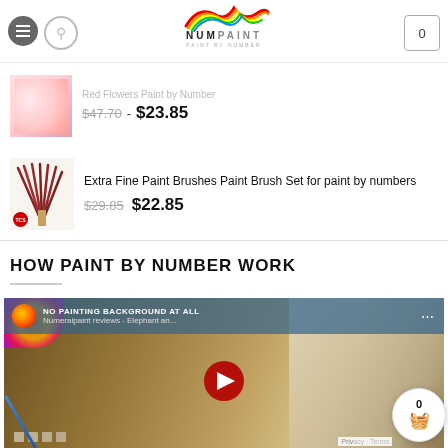NumPaint - Paint by Number
$47.70 - $23.85
Red Flowers Paint by Number $47.70 - $23.85
Extra Fine Paint Brushes Paint Brush Set for paint by numbers $29.85 $22.85
HOW PAINT BY NUMBER WORK
[Figure (screenshot): YouTube video thumbnail showing 'Numeralpaint reviews - Elephant an...' with NO PAINTING BACKGROUND AT ALL text and play button overlay]